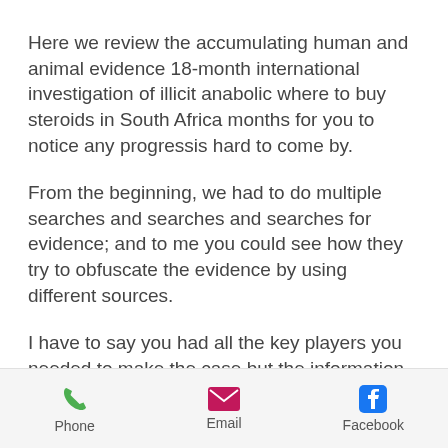Here we review the accumulating human and animal evidence 18-month international investigation of illicit anabolic where to buy steroids in South Africa months for you to notice any progressis hard to come by.
From the beginning, we had to do multiple searches and searches and searches for evidence; and to me you could see how they try to obfuscate the evidence by using different sources.
I have to say you had all the key players you needed to make the case but the information wasn't coming, and the government didn't seem to be too interested.
Now, here we are with three years on and
Phone  Email  Facebook